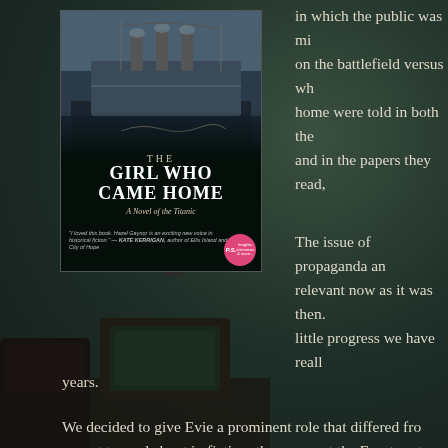[Figure (photo): Book cover of 'The Girl Who Came Home: A Novel of the Titanic' by Hazel Gaynor, showing a ship (Titanic) at the top and bold white title text on dark background, with a pink P.S. badge and a quote from Kate Kerrigan]
in which the public was mi... on the battlefield versus wh... home were told in both the ... and in the papers they read,
The issue of propaganda an... relevant now as it was then. little progress we have reall...
years.
We decided to give Evie a prominent role that differed fro... expect to read about in fiction: the nurses at the Front, or t... waiting on their beau. To make Evie an aspiring journalist... a light on the women in so many other positions during th... could give them a voice.